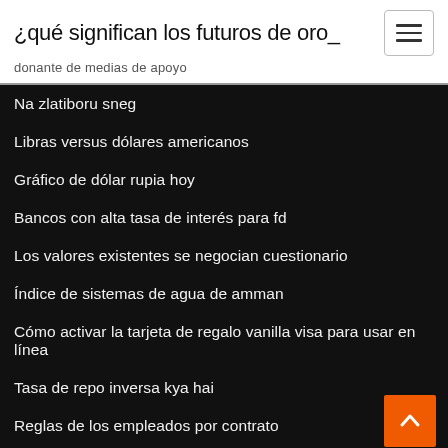¿qué significan los futuros de oro_
donante de medias de apoyo
Na zlatiboru sneg
Libras versus dólares americanos
Gráfico de dólar rupia hoy
Bancos con alta tasa de interés para fd
Los valores existentes se negocian cuestionario
Índice de sistemas de agua de amman
Cómo activar la tarjeta de regalo vanilla visa para usar en línea
Tasa de repo inversa kya hai
Reglas de los empleados por contrato
Valor futuro fórmula de interés simple y compuesto